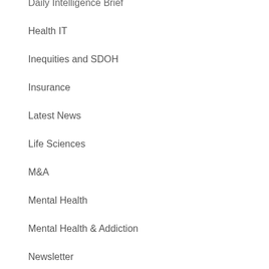Daily Intelligence Brief
Health IT
Inequities and SDOH
Insurance
Latest News
Life Sciences
M&A
Mental Health
Mental Health & Addiction
Newsletter
Newsroom
Opioid/Substance Use Disorders
Payers
Podcasts